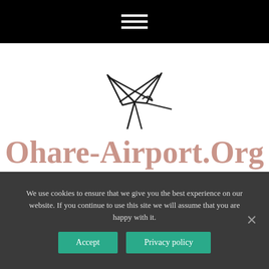Navigation menu (hamburger icon)
[Figure (logo): Abstract bird/hummingbird line logo in dark/black strokes]
Ohare-Airport.Org
There's A Lot Of Us Out Here That Are Birds, Man. We All Need To Just Fly
We use cookies to ensure that we give you the best experience on our website. If you continue to use this site we will assume that you are happy with it.
Accept   Privacy policy